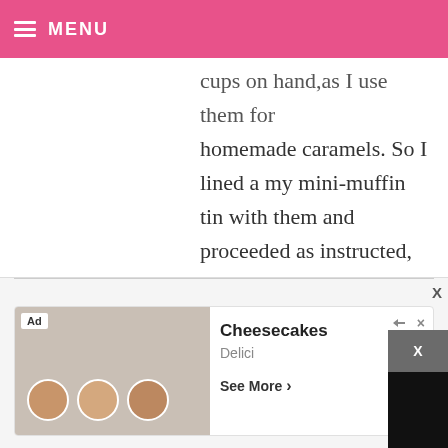MENU
cups on hand, as I use them for homemade caramels. So I lined a my mini-muffin tin with them and proceeded as instructed, they turned out great! I did have to dip the tops twice, but I'm sure that's due to how I shaped th... pics:http://ss.com/2... cake-truf...
[Figure (screenshot): Embedded video player showing a dark/black screen with a play button triangle in the center. Video controls visible at bottom showing mute icon, timestamp 13:52, CC button, grid button, settings gear, and fullscreen icon. An X close button appears in top right corner of the video overlay.]
[Figure (screenshot): Advertisement banner for Cheesecakes by Delici. Shows food images on left with Ad label, and text 'Cheesecakes', 'Delici', 'See More >' on right. Has close X button and share/close icons.]